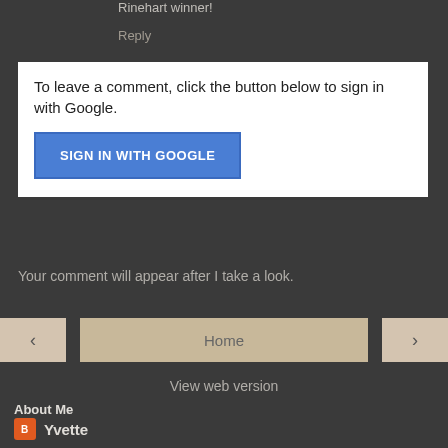Rinehart winner!
Reply
To leave a comment, click the button below to sign in with Google.
SIGN IN WITH GOOGLE
Your comment will appear after I take a look.
< Home >
View web version
About Me
Yvette
View my complete profile
Powered by Blogger.